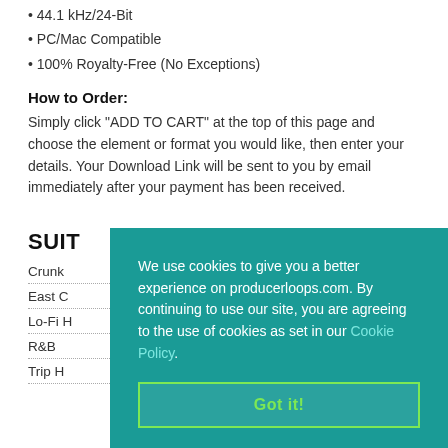• 44.1 kHz/24-Bit
• PC/Mac Compatible
• 100% Royalty-Free (No Exceptions)
How to Order:
Simply click "ADD TO CART" at the top of this page and choose the element or format you would like, then enter your details. Your Download Link will be sent to you by email immediately after your payment has been received.
SUIT
Crunk
East C
Lo-Fi H
R&B
Trip H
[Figure (screenshot): Cookie consent overlay on teal background with text: 'We use cookies to give you a better experience on producerloops.com. By continuing to use our site, you are agreeing to the use of cookies as set in our Cookie Policy.' and a 'Got it!' button.]